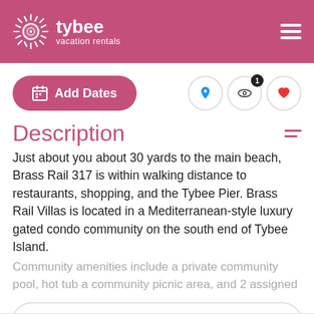tybee vacation rentals
Add Dates
Description
Just about you about 30 yards to the main beach, Brass Rail 317 is within walking distance to restaurants, shopping, and the Tybee Pier. Brass Rail Villas is located in a Mediterranean-style luxury gated condo community on the south end of Tybee Island.
Community amenities include a private community pool, hot tub a community picnic area, and 2 assigned
Read more